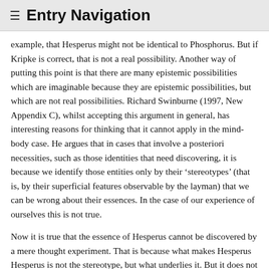≡ Entry Navigation
example, that Hesperus might not be identical to Phosphorus. But if Kripke is correct, that is not a real possibility. Another way of putting this point is that there are many epistemic possibilities which are imaginable because they are epistemic possibilities, but which are not real possibilities. Richard Swinburne (1997, New Appendix C), whilst accepting this argument in general, has interesting reasons for thinking that it cannot apply in the mind-body case. He argues that in cases that involve a posteriori necessities, such as those identities that need discovering, it is because we identify those entities only by their 'stereotypes' (that is, by their superficial features observable by the layman) that we can be wrong about their essences. In the case of our experience of ourselves this is not true.
Now it is true that the essence of Hesperus cannot be discovered by a mere thought experiment. That is because what makes Hesperus Hesperus is not the stereotype, but what underlies it. But it does not follow that no one can